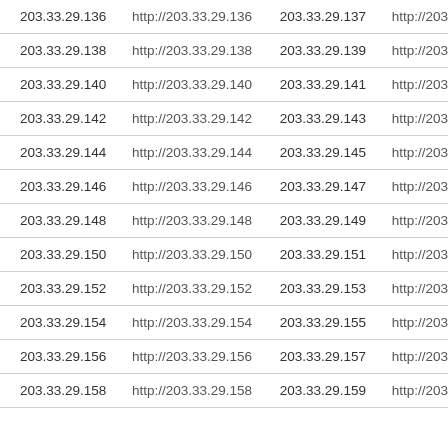| 203.33.29.136 | http://203.33.29.136 | 203.33.29.137 | http://203 |
| 203.33.29.138 | http://203.33.29.138 | 203.33.29.139 | http://203 |
| 203.33.29.140 | http://203.33.29.140 | 203.33.29.141 | http://203 |
| 203.33.29.142 | http://203.33.29.142 | 203.33.29.143 | http://203 |
| 203.33.29.144 | http://203.33.29.144 | 203.33.29.145 | http://203 |
| 203.33.29.146 | http://203.33.29.146 | 203.33.29.147 | http://203 |
| 203.33.29.148 | http://203.33.29.148 | 203.33.29.149 | http://203 |
| 203.33.29.150 | http://203.33.29.150 | 203.33.29.151 | http://203 |
| 203.33.29.152 | http://203.33.29.152 | 203.33.29.153 | http://203 |
| 203.33.29.154 | http://203.33.29.154 | 203.33.29.155 | http://203 |
| 203.33.29.156 | http://203.33.29.156 | 203.33.29.157 | http://203 |
| 203.33.29.158 | http://203.33.29.158 | 203.33.29.159 | http://203 |